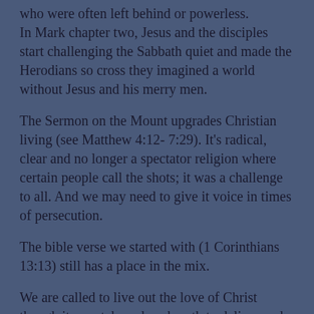who were often left behind or powerless. In Mark chapter two, Jesus and the disciples start challenging the Sabbath quiet and made the Herodians so cross they imagined a world without Jesus and his merry men.
The Sermon on the Mount upgrades Christian living (see Matthew 4:12- 7:29). It's radical, clear and no longer a spectator religion where certain people call the shots; it was a challenge to all. And we may need to give it voice in times of persecution.
The bible verse we started with (1 Corinthians 13:13) still has a place in the mix.
We are called to live out the love of Christ though it may take a deep breath to deliver and forgiveness may take months or years to be able to say with conviction. Lastly I can say honestly I have always loved this Church and its people and always will.